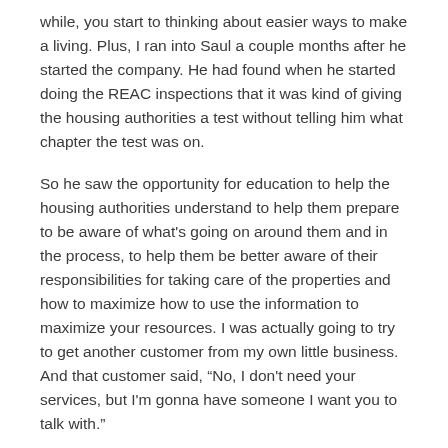while, you start to thinking about easier ways to make a living. Plus, I ran into Saul a couple months after he started the company. He had found when he started doing the REAC inspections that it was kind of giving the housing authorities a test without telling him what chapter the test was on.
So he saw the opportunity for education to help the housing authorities understand to help them prepare to be aware of what's going on around them and in the process, to help them be better aware of their responsibilities for taking care of the properties and how to maximize how to use the information to maximize your resources. I was actually going to try to get another customer from my own little business. And that customer said, “No, I don't need your services, but I'm gonna have someone I want you to talk with.”
He dials his phone and says, Hey, so I got some guy I want you to talk to and hands me the phone. I have no